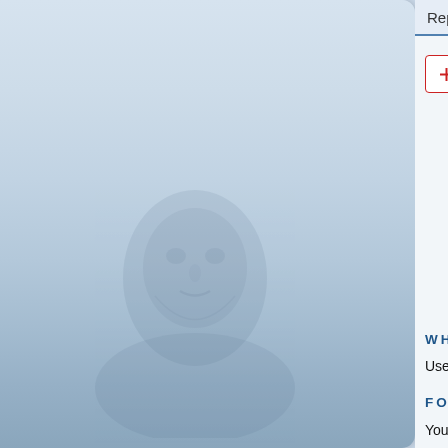[Figure (illustration): Left sidebar with blue-gray gradient background and faint face/portrait watermark image at bottom]
Replies: 1
New Topic  |  sort controls
177 topics  1  2
WHO IS ONLINE
Users browsing this forum: No registered users and 3 g
FORUM PERMISSIONS
You cannot post new topics in this forum
You cannot reply to topics in this forum
You cannot edit your posts in this forum
You cannot delete your posts in this forum
You cannot post attachments in this forum
Board index   Contact us   The team   |   Powered by phpBB® Forum S
“Sch